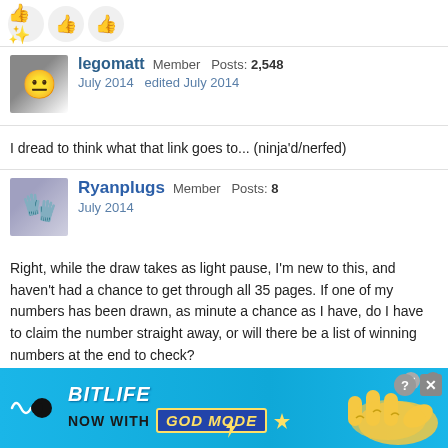[Figure (illustration): Three reaction/like emoji icons (thumbs up variants with sparkle effects)]
legomatt Member Posts: 2,548
July 2014  edited July 2014
I dread to think what that link goes to... (ninja'd/nerfed)
Ryanplugs Member Posts: 8
July 2014
Right, while the draw takes as light pause, I'm new to this, and haven't had a chance to get through all 35 pages. If one of my numbers has been drawn, as minute a chance as I have, do I have to claim the number straight away, or will there be a list of winning numbers at the end to check?
carlq Ruislip Manor, Middlesex Member Posts: 792
July 2014
Oh, thank the Lego gods. I've been running two windows at once to catch up
[Figure (illustration): BitLife advertisement banner: 'BitLife NOW WITH GOD MODE' on blue background with hand pointing graphic]